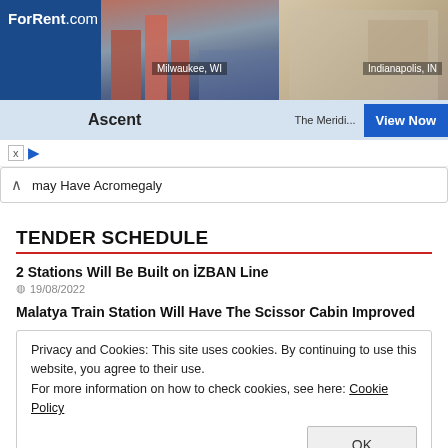[Figure (screenshot): ForRent.com advertisement banner showing apartment buildings in Milwaukee, WI and Indianapolis, IN with 'Ascent' and 'The Meridi...' listings and a 'View Now' button]
may Have Acromegaly
TENDER SCHEDULE
2 Stations Will Be Built on İZBAN Line
19/08/2022
Malatya Train Station Will Have The Scissor Cabin Improved
Privacy and Cookies: This site uses cookies. By continuing to use this website, you agree to their use.
For more information on how to check cookies, see here: Cookie Policy